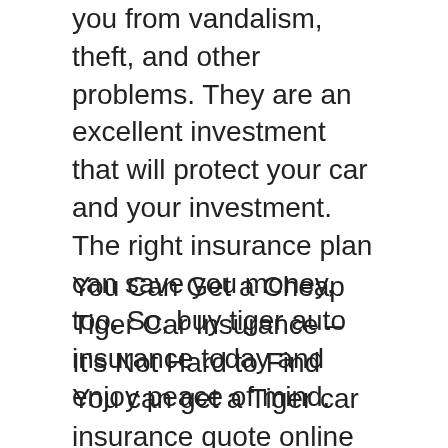you from vandalism, theft, and other problems. They are an excellent investment that will protect your car and your investment. The right insurance plan can save you money, too. So, buy tiger auto insurance today and enjoy peace of mind.
You Can Get a Cheap Tiger Car Insurance – It's Not Hard to Find
You can get a Tiger car insurance quote online by submitting a zip code and the type of coverage you need. Once you've entered your information, you will be taken to a page where you can compare the quotes of different insurance companies. You can determine which insurer offers the best coverage for your needs by doing so. In addition, you can also find the best auto